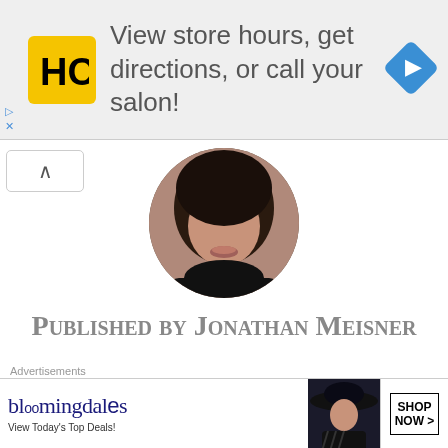[Figure (screenshot): Top advertisement banner: HC salon logo (yellow square with HC text), text 'View store hours, get directions, or call your salon!', blue navigation diamond icon on the right, with play and X close icons on left edge]
[Figure (photo): Circular cropped profile photo of a person with dark hair and dark clothing, showing face from nose down]
Published by Jonathan Meisner
View all posts by Jonathan Meisner
< Previous
Next ⊗
Advertisements
[Figure (screenshot): Bloomingdales advertisement banner: logo text 'bloomingdales', 'View Today's Top Deals!' text on left, woman with large hat in middle, 'SHOP NOW >' button on right]